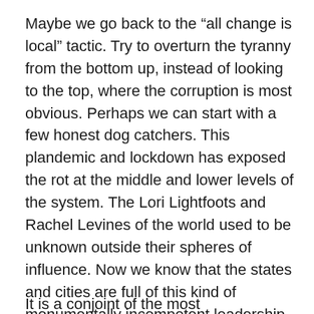Maybe we go back to the “all change is local” tactic. Try to overturn the tyranny from the bottom up, instead of looking to the top, where the corruption is most obvious. Perhaps we can start with a few honest dog catchers. This plandemic and lockdown has exposed the rot at the middle and lower levels of the system. The Lori Lightfoots and Rachel Levines of the world used to be unknown outside their spheres of influence. Now we know that the states and cities are full of this kind of monumentally incompetent leadership. Mayors used to be spoofed on television programs like Green Acres and The Andy Griffith Show. The real mayors we’ve watched oversee such shocking incompetence over the past year don’t have any comedic value. You can’t laugh at compromised buffoons presiding over the destruction of the country.
It is a conjoint of the most organizationally challenged the...